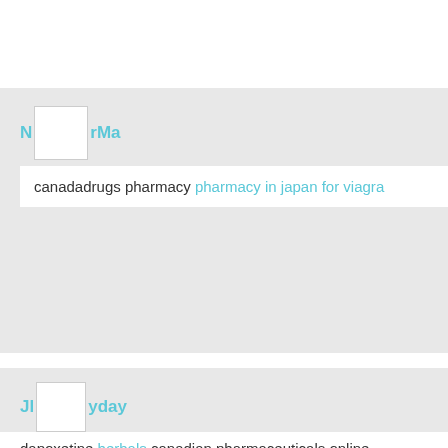NurMa
canadadrugs pharmacy pharmacy in japan for viagra
JI yday
dapoxetine herbals canadian pharmaceuticals online